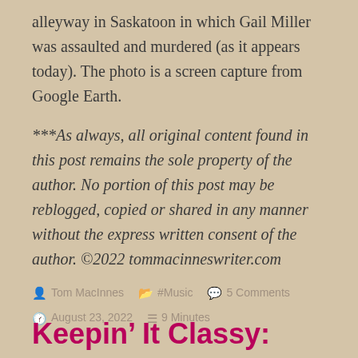alleyway in Saskatoon in which Gail Miller was assaulted and murdered (as it appears today). The photo is a screen capture from Google Earth.
***As always, all original content found in this post remains the sole property of the author. No portion of this post may be reblogged, copied or shared in any manner without the express written consent of the author. ©2022 tommacinneswriter.com
By Tom MacInnes   #Music   5 Comments   August 23, 2022   9 Minutes
Keepin' It Classy: